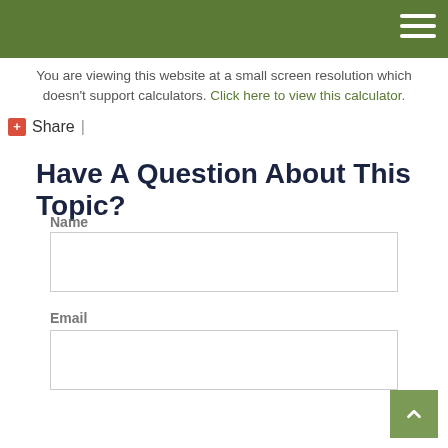Navigation header bar with hamburger menu
You are viewing this website at a small screen resolution which doesn't support calculators. Click here to view this calculator.
+ Share |
Have A Question About This Topic?
Name
Email